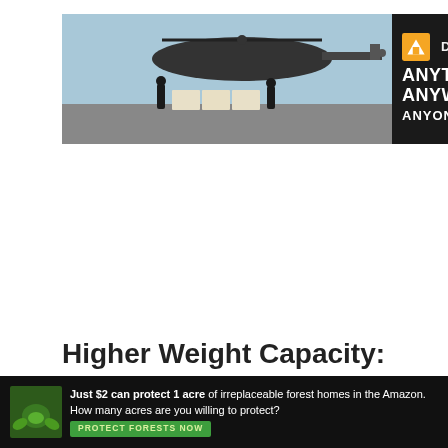[Figure (photo): DirectRelief advertisement banner with helicopter loading supplies on the left and dark background with 'ANYTIME. ANYWHERE. ANYONE IN NEED.' text and DirectRelief logo on the right]
Higher Weight Capacity: Regular office chair has a weight capacity under 250lbs. So, above 250 lbs weight capacity chairs can be classified as a higher weight capacity. However, to emphasize the perspective, we
[Figure (photo): Amazon forest conservation advertisement: 'Just $2 can protect 1 acre of irreplaceable forest homes in the Amazon. How many acres are you willing to protect?' with PROTECT FORESTS NOW button]